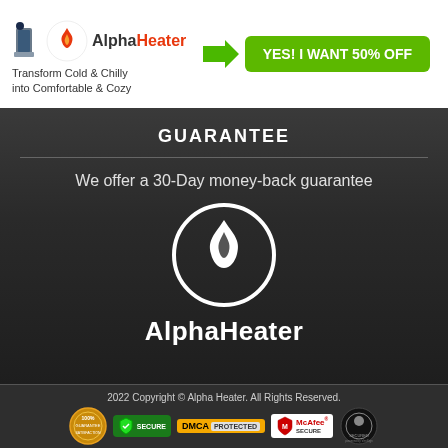[Figure (logo): AlphaHeater logo with flame icon, brand name 'Alpha' in dark and 'Heater' in orange-red, tagline 'Transform Cold & Chilly into Comfortable & Cozy']
[Figure (logo): Green arrow pointing right followed by bright green CTA button reading 'YES! I WANT 50% OFF']
GUARANTEE
We offer a 30-Day money-back guarantee
[Figure (logo): Large AlphaHeater white logo with flame/circle icon above brand name 'AlphaHeater' in white on dark background]
2022 Copyright © Alpha Heater. All Rights Reserved.
[Figure (infographic): Row of trust badges: 100% guarantee seal, green Secure badge, DMCA Protected badge, McAfee Secure badge, Optout Secured badge]